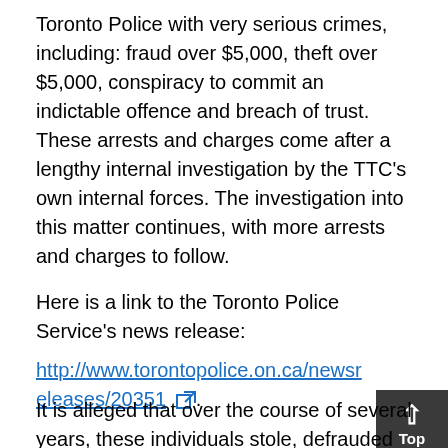Toronto Police with very serious crimes, including: fraud over $5,000, theft over $5,000, conspiracy to commit an indictable offence and breach of trust. These arrests and charges come after a lengthy internal investigation by the TTC's own internal forces. The investigation into this matter continues, with more arrests and charges to follow.
Here is a link to the Toronto Police Service's news release:
http://www.torontopolice.on.ca/newsreleases/20351 [external link].
It is alleged that over the course of several years, these individuals stole, defrauded and attempted to circumvent TTC purchasing policies and authorities